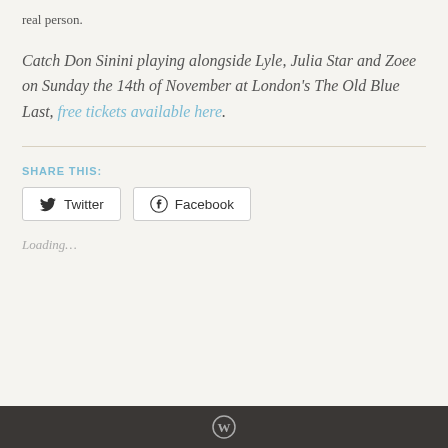real person.
Catch Don Sinini playing alongside Lyle, Julia Star and Zoee on Sunday the 14th of November at London's The Old Blue Last, free tickets available here.
SHARE THIS:
Loading...
WordPress logo